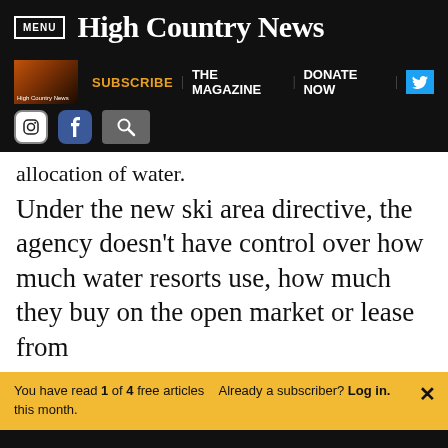MENU | High Country News
SUBSCRIBE | THE MAGAZINE | DONATE NOW
allocation of water.
Under the new ski area directive, the agency doesn't have control over how much water resorts use, how much they buy on the open market or lease from
You have read 1 of 4 free articles this month. Already a subscriber? Log in.
Support independent journalism. Subscribe